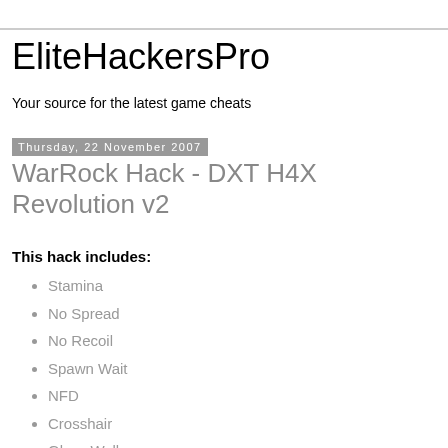EliteHackersPro
Your source for the latest game cheats
Thursday, 22 November 2007
WarRock Hack - DXT H4X Revolution v2
This hack includes:
Stamina
No Spread
No Recoil
Spawn Wait
NFD
Crosshair
Glass Wall